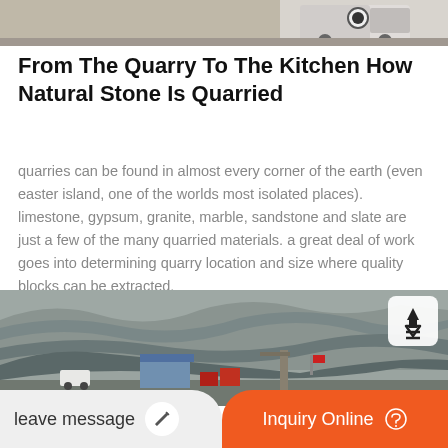[Figure (photo): Top partial photo showing construction or transport equipment against a light background]
From The Quarry To The Kitchen How Natural Stone Is Quarried
quarries can be found in almost every corner of the earth (even easter island, one of the worlds most isolated places). limestone, gypsum, granite, marble, sandstone and slate are just a few of the many quarried materials. a great deal of work goes into determining quarry location and size where quality blocks can be extracted.
[Figure (photo): Aerial photo of a stone quarry with rocky mountain terrain, a small blue-roofed building, vehicles, and equipment at the base of the quarry]